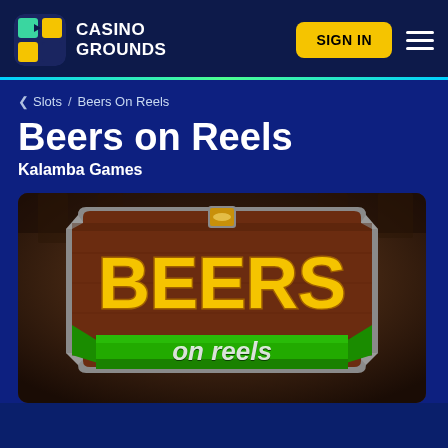Casino Grounds — SIGN IN
< Slots / Beers On Reels
Beers on Reels
Kalamba Games
[Figure (screenshot): Beers on Reels slot game logo on a wooden sign with silver border. 'BEERS' in large orange letters and 'on reels' on a green ribbon banner. Background shows a blurred tavern interior.]